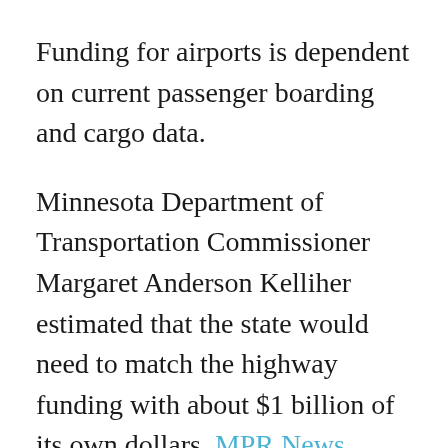Funding for airports is dependent on current passenger boarding and cargo data.
Minnesota Department of Transportation Commissioner Margaret Anderson Kelliher estimated that the state would need to match the highway funding with about $1 billion of its own dollars, MPR News reported.
Minnesota Republicans and Democrat Rep. Ilhan Omar voted against the bill in